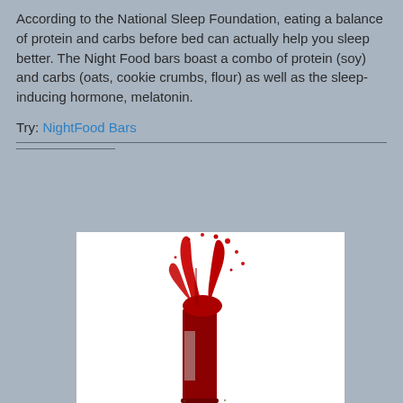According to the National Sleep Foundation, eating a balance of protein and carbs before bed can actually help you sleep better. The Night Food bars boast a combo of protein (soy) and carbs (oats, cookie crumbs, flour) as well as the sleep-inducing hormone, melatonin.
Try: NightFood Bars
[Figure (photo): A red liquid splashing dramatically out of a tall cylindrical container/bottle on a white background, photographed from below angled upward.]